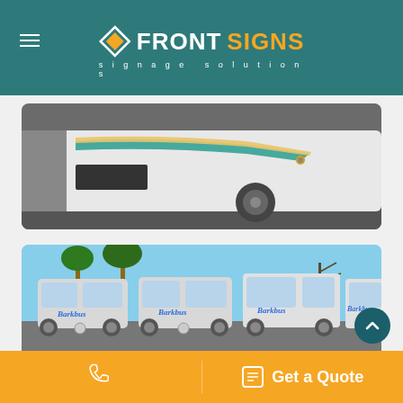FRONT SIGNS - signage solutions
[Figure (photo): Side view of a white bus/vehicle with teal and yellow/green stripe decals applied as vehicle wraps]
[Figure (photo): Fleet of white vans (Mercedes-Benz Sprinters and Ford Transit) branded with Barkbus logo wraps, parked in a lot with palm trees in the background under a blue sky]
Get a Quote